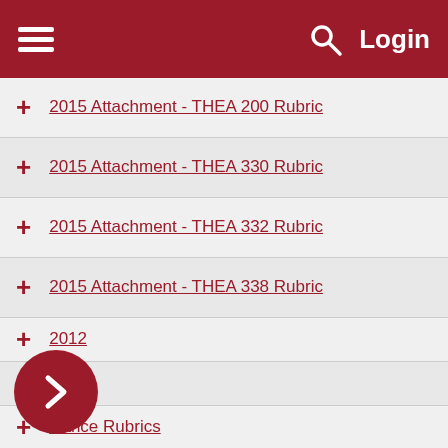Login
2015 Attachment - THEA 200 Rubric
2015 Attachment - THEA 330 Rubric
2015 Attachment - THEA 332 Rubric
2015 Attachment - THEA 338 Rubric
2012
2009
Dance Rubrics
2008
7 Music
Theatre and Dance